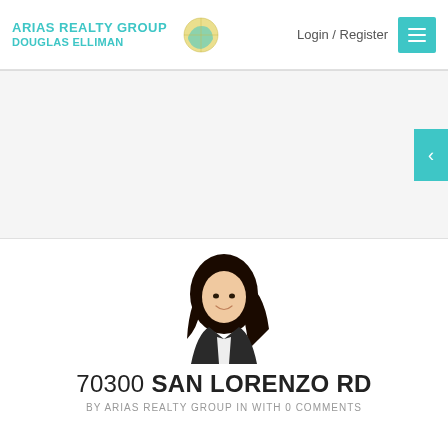[Figure (logo): Arias Realty Group Douglas Elliman logo with globe graphic]
Login / Register
[Figure (other): White/light gray banner area (property image carousel placeholder)]
[Figure (photo): Photo of a woman with long dark hair smiling, agent headshot]
70300 SAN LORENZO RD
BY ARIAS REALTY GROUP IN WITH 0 COMMENTS